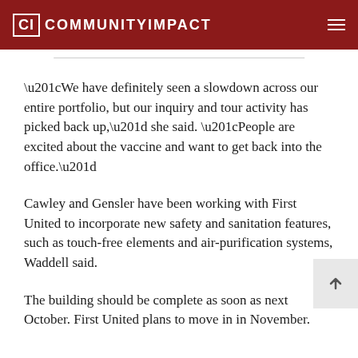CI COMMUNITYIMPACT
“We have definitely seen a slowdown across our entire portfolio, but our inquiry and tour activity has picked back up,” she said. “People are excited about the vaccine and want to get back into the office.”
Cawley and Gensler have been working with First United to incorporate new safety and sanitation features, such as touch-free elements and air-purification systems, Waddell said.
The building should be complete as soon as next October. First United plans to move in in November.